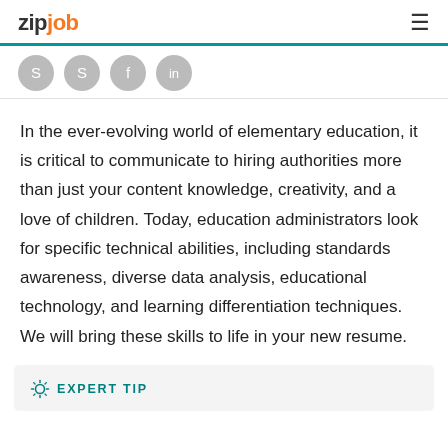zipjob
[Figure (other): Social sharing icons (four circular grey icons) with a teal top border bar]
In the ever-evolving world of elementary education, it is critical to communicate to hiring authorities more than just your content knowledge, creativity, and a love of children. Today, education administrators look for specific technical abilities, including standards awareness, diverse data analysis, educational technology, and learning differentiation techniques. We will bring these skills to life in your new resume.
EXPERT TIP